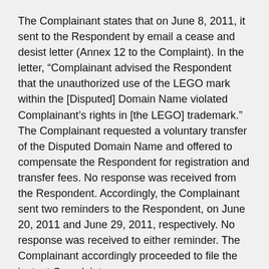The Complainant states that on June 8, 2011, it sent to the Respondent by email a cease and desist letter (Annex 12 to the Complaint). In the letter, “Complainant advised the Respondent that the unauthorized use of the LEGO mark within the [Disputed] Domain Name violated Complainant’s rights in [the LEGO] trademark.” The Complainant requested a voluntary transfer of the Disputed Domain Name and offered to compensate the Respondent for registration and transfer fees. No response was received from the Respondent. Accordingly, the Complainant sent two reminders to the Respondent, on June 20, 2011 and June 29, 2011, respectively. No response was received to either reminder. The Complainant accordingly proceeded to file the instant Complaint.
The Complainant alleges that the Respondent is “not using the [Disputed] Domain Name in connection with a bona fide offering of goods or services. Instead, the Respondent has intentionally chosen a domain name based on a registered trademark in order to generate